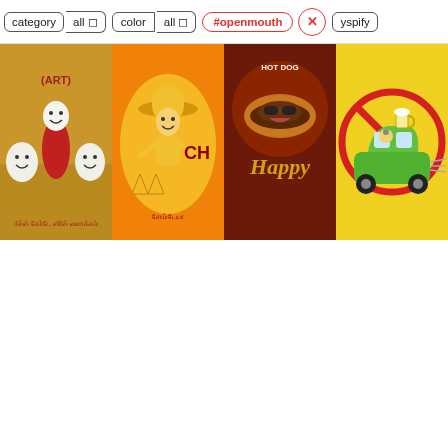[Figure (screenshot): Search UI toolbar with filter tags: category (all), color (all), #openmouth (active/red), close button (X), and yspify label]
[Figure (photo): Four food-related cartoon logo images in a horizontal strip: 1) Cartoon sausage/bean characters with text (ART) on orange background, 2) Mexican food cartoon character with chi text on orange background, 3) Happy Hot Dog cartoon with 'Happy' text on dark red background, 4) Cartoon green car with a person holding beer, no-drinking sign, on yellow background]